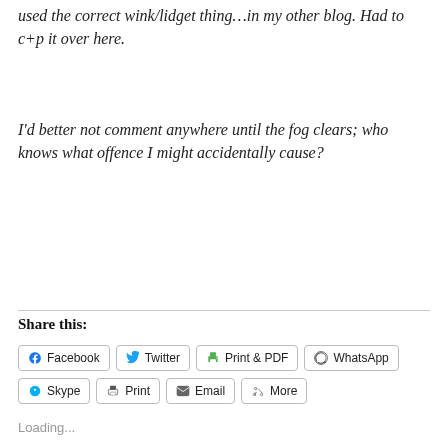used the correct wink/lidget thing…in my other blog. Had to c+p it over here.
I'd better not comment anywhere until the fog clears; who knows what offence I might accidentally cause?
Share this:
Facebook  Twitter  Print & PDF  WhatsApp  Skype  Print  Email  More
Loading...